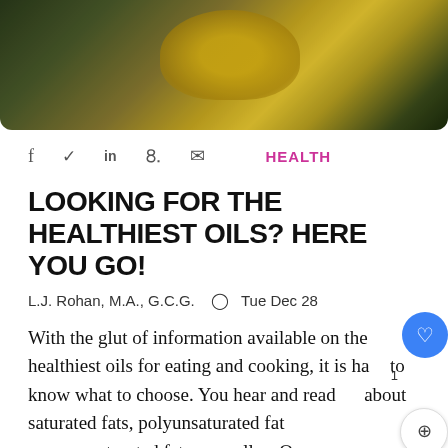[Figure (photo): Hero image showing a glass bowl of golden olive oil with black olives on a wooden surface]
f  y  in  p  ✉
HEALTH
LOOKING FOR THE HEALTHIEST OILS? HERE YOU GO!
L.J. Rohan, M.A., G.C.G.  🕐 Tue Dec 28
With the glut of information available on the healthiest oils for eating and cooking, it is hard to know what to choose. You hear and read about saturated fats, polyunsaturated fats, monounsaturated fats, as well as Omega-6s, Omega-3s. It's enough to make you want to lie down. Here is the good news: I have read the